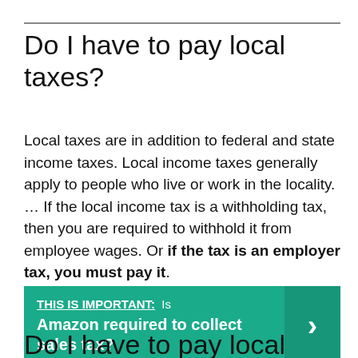Do I have to pay local taxes?
Local taxes are in addition to federal and state income taxes. Local income taxes generally apply to people who live or work in the locality. … If the local income tax is a withholding tax, then you are required to withhold it from employee wages. Or if the tax is an employer tax, you must pay it.
THIS IS IMPORTANT:  Is Amazon required to collect sales tax?
Do I have to pay local taxes